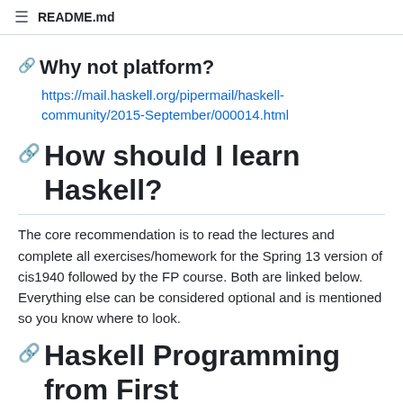README.md
Why not platform?
https://mail.haskell.org/pipermail/haskell-community/2015-September/000014.html
How should I learn Haskell?
The core recommendation is to read the lectures and complete all exercises/homework for the Spring 13 version of cis1940 followed by the FP course. Both are linked below. Everything else can be considered optional and is mentioned so you know where to look.
Haskell Programming from First Principles